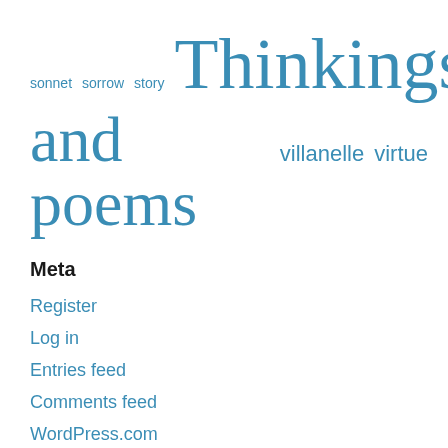[Figure (infographic): Tag cloud with words: sonnet, sorrow, story (small), Thinkings (large), and poems (extra large), villanelle, virtue (medium) in blue colors]
Meta
Register
Log in
Entries feed
Comments feed
WordPress.com